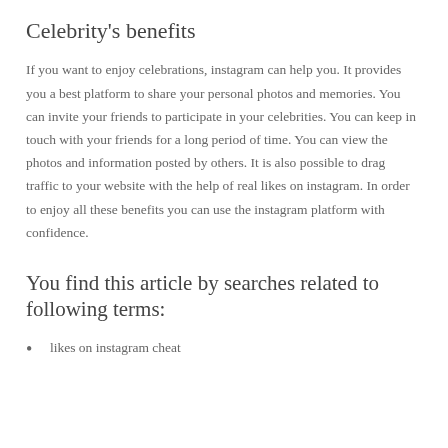Celebrity's benefits
If you want to enjoy celebrations, instagram can help you. It provides you a best platform to share your personal photos and memories. You can invite your friends to participate in your celebrities. You can keep in touch with your friends for a long period of time. You can view the photos and information posted by others. It is also possible to drag traffic to your website with the help of real likes on instagram. In order to enjoy all these benefits you can use the instagram platform with confidence.
You find this article by searches related to following terms:
likes on instagram cheat